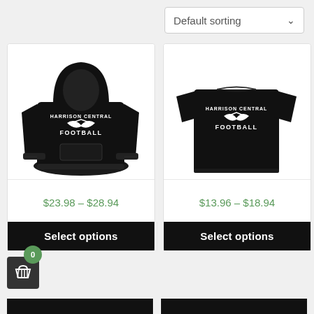Default sorting
[Figure (photo): Black hoodie with Harrison Central Football logo and eagle wing graphic in white on front]
[Figure (photo): Black t-shirt (back view) with Harrison Central Football logo and eagle wing graphic in white]
$23.98 – $28.94
$13.96 – $18.94
Select options
Select options